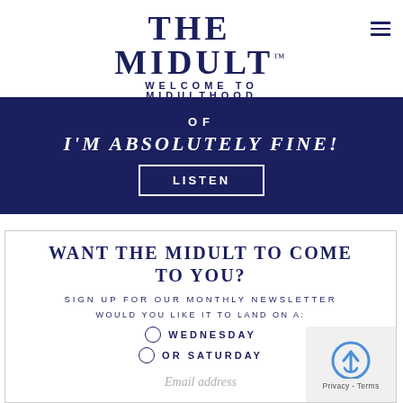THE MIDULT™ — WELCOME TO MIDULTHOOD
[Figure (other): Dark navy promotional banner with text 'OF I'M ABSOLUTELY FINE!' and a LISTEN button]
WANT THE MIDULT TO COME TO YOU?
SIGN UP FOR OUR MONTHLY NEWSLETTER
WOULD YOU LIKE IT TO LAND ON A:
WEDNESDAY
OR SATURDAY
Email address